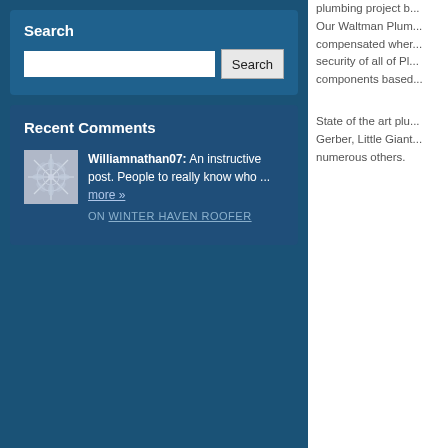Search
[Search input and button]
Recent Comments
Williamnathan07: An instructive post. People to really know who ... more » ON WINTER HAVEN ROOFER
plumbing project b... Our Waltman Plum... compensated wher... security of all of Pl... components based...
State of the art plu... Gerber, Little Giant... numerous others.